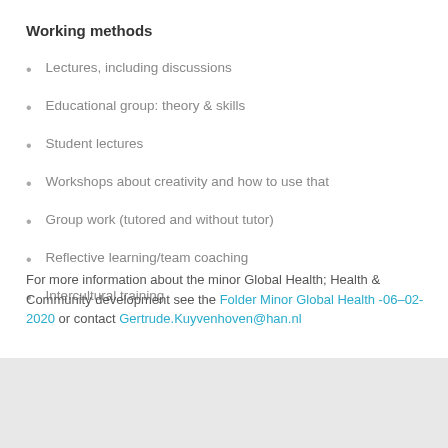Working methods
Lectures, including discussions
Educational group: theory & skills
Student lectures
Workshops about creativity and how to use that
Group work (tutored and without tutor)
Reflective learning/team coaching
Intercultural training
For more information about the minor Global Health; Health & Community development see the Folder Minor Global Health -06–02-2020 or contact Gertrude.Kuyvenhoven@han.nl